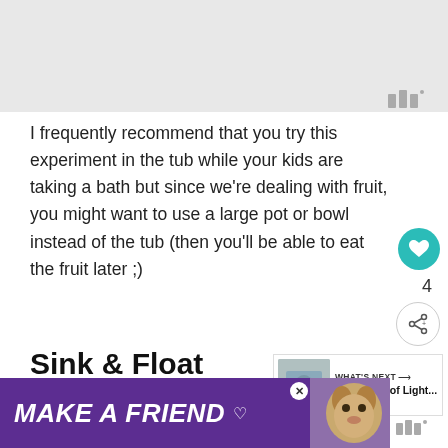[Figure (other): Grey image placeholder area at top of page]
I frequently recommend that you try this experiment in the tub while your kids are taking a bath but since we're dealing with fruit, you might want to use a large pot or bowl instead of the tub (then you'll be able to eat the fruit later ;)
Sink & Float Experiment: Hands-on Physics for Ki...
[Figure (other): What's Next thumbnail: Refraction of Light article preview]
Ok, time to get wet!
[Figure (other): Advertisement banner: MAKE A FRIEND with dog image]